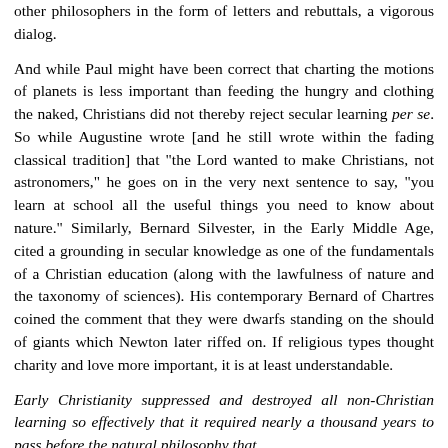other philosophers in the form of letters and rebuttals, a vigorous dialog.
And while Paul might have been correct that charting the motions of planets is less important than feeding the hungry and clothing the naked, Christians did not thereby reject secular learning per se. So while Augustine wrote [and he still wrote within the fading classical tradition] that "the Lord wanted to make Christians, not astronomers," he goes on in the very next sentence to say, "you learn at school all the useful things you need to know about nature." Similarly, Bernard Silvester, in the Early Middle Age, cited a grounding in secular knowledge as one of the fundamentals of a Christian education (along with the lawfulness of nature and the taxonomy of sciences). His contemporary Bernard of Chartres coined the comment that they were dwarfs standing on the should of giants which Newton later riffed on. If religious types thought charity and love more important, it is at least understandable.
Early Christianity suppressed and destroyed all non-Christian learning so effectively that it required nearly a thousand years to pass before the natural philosophy that